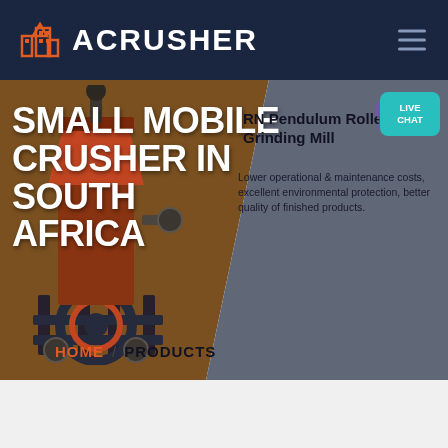ACRUSHER
SMALL MOBILE CRUSHER IN SOUTH AFRICA
RN Pendulum Roller Grinding Mill
Lower operational & maintenance costs, excellent environmental protection, better quality of finished products.
[Figure (screenshot): Hero banner of ACRUSHER website showing a mobile crusher machine on a brown/grey diagonal background with navigation bar]
HOME / PRODUCTS